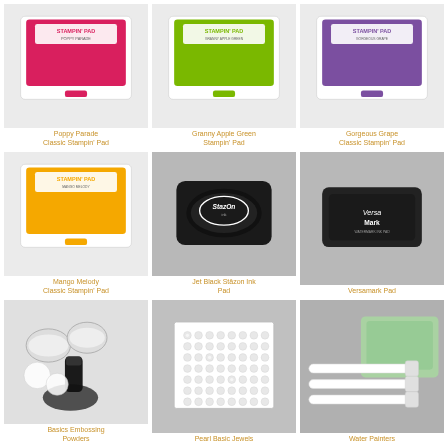[Figure (photo): Poppy Parade Classic Stampin' Pad - red ink pad]
Poppy Parade Classic Stampin' Pad
[Figure (photo): Granny Apple Green Stampin' Pad - green ink pad]
Granny Apple Green Stampin' Pad
[Figure (photo): Gorgeous Grape Classic Stampin' Pad - purple ink pad]
Gorgeous Grape Classic Stampin' Pad
[Figure (photo): Mango Melody Classic Stampin' Pad - orange/yellow ink pad]
Mango Melody Classic Stampin' Pad
[Figure (photo): Jet Black Stazon Ink Pad - black ink pad]
Jet Black Stāzon Ink Pad
[Figure (photo): Versamark Pad - clear/translucent ink pad]
Versamark Pad
[Figure (photo): Basics Embossing Powders - black and white powder containers]
Basics Embossing Powders
[Figure (photo): Pearl Basic Jewels - sheet of pearl adhesive gems]
Pearl Basic Jewels
[Figure (photo): Water Painters - white paint brushes with green stamp pad]
Water Painters